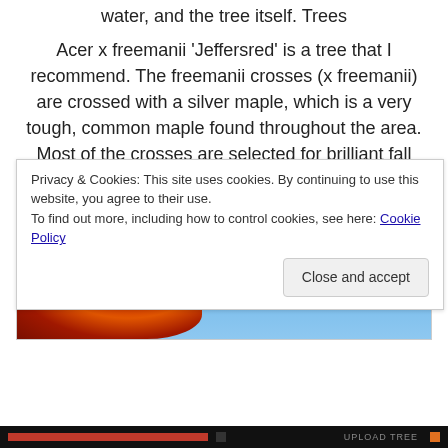water, and the tree itself. Trees
Acer x freemanii ‘Jeffersred’ is a tree that I recommend. The freemanii crosses (x freemanii) are crossed with a silver maple, which is a very tough, common maple found throughout the area. Most of the crosses are selected for brilliant fall foliage. Other varieties are Autumn Fantasy, Firefall Maple, Marmo, and Sienna Glen. These are all large vigorous trees, eventually reaching 50’.
[Figure (photo): Photo of a tree with brilliant red/orange fall foliage against a blue sky background]
Privacy & Cookies: This site uses cookies. By continuing to use this website, you agree to their use.
To find out more, including how to control cookies, see here: Cookie Policy
Close and accept